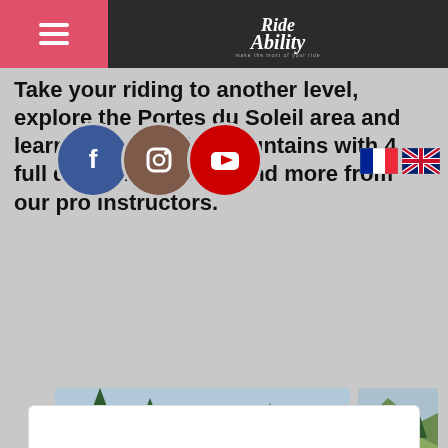RideAbility
Take your riding to another level, explore the Portes du Soleil area and learn to master the mountains with 4 full days of coaching and more from our pro instructors.
[Figure (photo): Group of mountain bikers with helmets gathered on a slope, Ride Ability logo visible]
[Figure (photo): Mountain biker riding on open alpine meadow, mountain landscape background, Ride Ability logo visible]